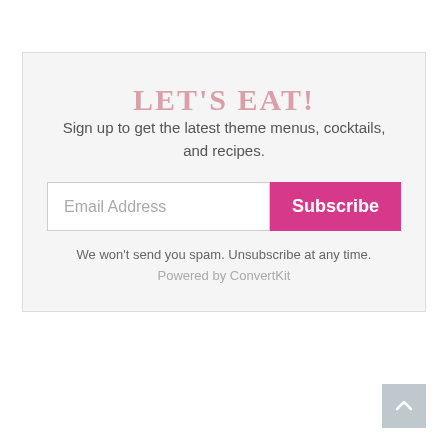LET'S EAT!
Sign up to get the latest theme menus, cocktails, and recipes.
Email Address
Subscribe
We won't send you spam. Unsubscribe at any time.
Powered by ConvertKit